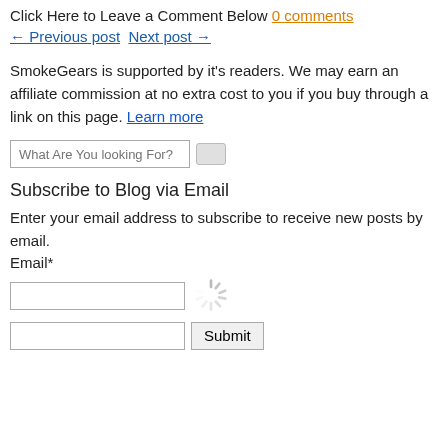Click Here to Leave a Comment Below 0 comments
← Previous post  Next post →
SmokeGears is supported by it's readers. We may earn an affiliate commission at no extra cost to you if you buy through a link on this page. Learn more
What Are You looking For?
Subscribe to Blog via Email
Enter your email address to subscribe to receive new posts by email.
Email*